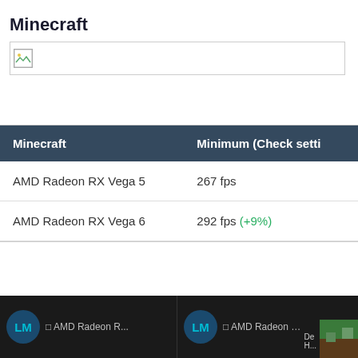Minecraft
[Figure (other): Broken/unloaded image placeholder]
| Minecraft | Minimum (Check setti… |
| --- | --- |
| AMD Radeon RX Vega 5 | 267 fps |
| AMD Radeon RX Vega 6 | 292 fps (+9%) |
[Figure (screenshot): Taskbar showing two LM browser tabs with AMD Radeon R... titles, and a small green game screenshot thumbnail in bottom right corner]